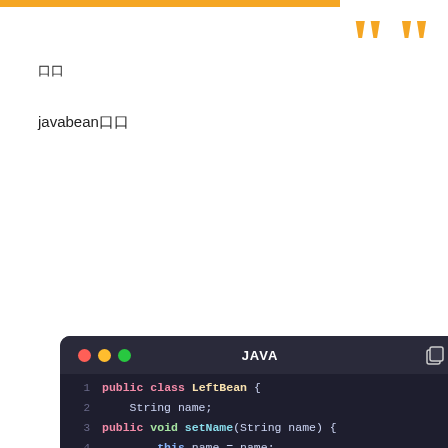口口
javabean口口
[Figure (screenshot): Dark-themed Java code editor window showing LeftBean class with fields, setName method, constructor, and init method. Lines 1-11 visible.]